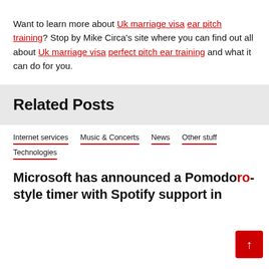Want to learn more about Uk marriage visa ear pitch training? Stop by Mike Circa's site where you can find out all about Uk marriage visa perfect pitch ear training and what it can do for you.
Related Posts
Internet services
Music & Concerts
News
Other stuff
Technologies
Microsoft has announced a Pomodoro-style timer with Spotify support in